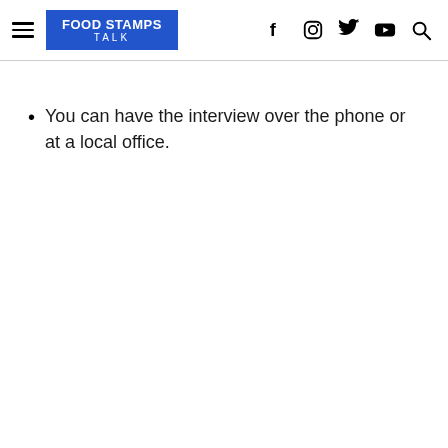FOOD STAMPS TALK
You can have the interview over the phone or at a local office.